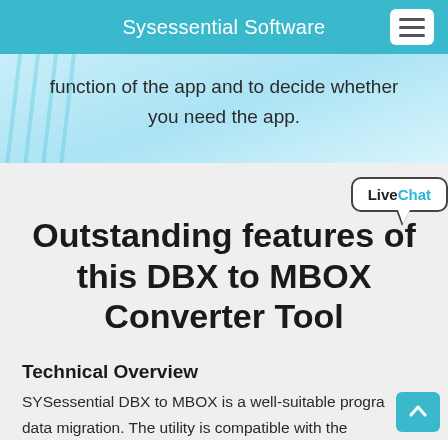Sysessential Software
function of the app and to decide whether you need the app.
Outstanding features of this DBX to MBOX Converter Tool
Technical Overview
SYSessential DBX to MBOX is a well-suitable program for data migration. The utility is compatible with the